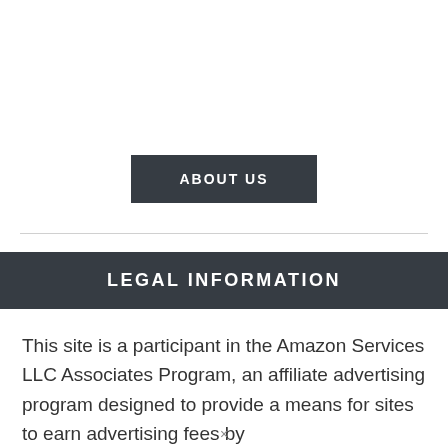[Figure (other): About Us button — dark grey rectangular button with white bold uppercase text 'ABOUT US']
LEGAL INFORMATION
This site is a participant in the Amazon Services LLC Associates Program, an affiliate advertising program designed to provide a means for sites to earn advertising fees by